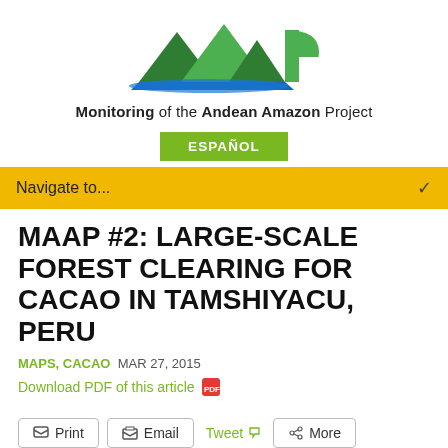[Figure (logo): MAAP (Monitoring of the Andean Amazon Project) logo with green mountain/arrow shapes and text]
Monitoring of the Andean Amazon Project
ESPAÑOL
Navigate to...
MAAP #2: LARGE-SCALE FOREST CLEARING FOR CACAO IN TAMSHIYACU, PERU
MAPS, CACAO  MAR 27, 2015
Download PDF of this article
Print   Email   Tweet   More
Image of the Week #2 shows the recent and